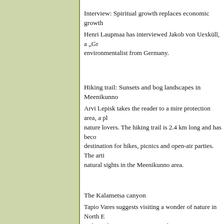Interview: Spiritual growth replaces economic growth
Henri Laupmaa has interviewed Jakob von Uexküll, a „Gr... environmentalist from Germany.
Hiking trail: Sunsets and bog landscapes in Meenikunno
Arvi Lepisk takes the reader to a mire protection area, a pl... nature lovers. The hiking trail is 2.4 km long and has beco... destination for hikes, picnics and open-air parties. The arti... natural sights in the Meenikunno area.
The Kalametsa canyon
Tapio Vares suggests visiting a wonder of nature in North ... is the Kalametsa canyon cut in the Devonian limestone alo... Such magnificent canyon seems impossible; it has to be w... eyes.
Dunlin
Sven Zaèek's camera has caught a bird that is mostly migr...